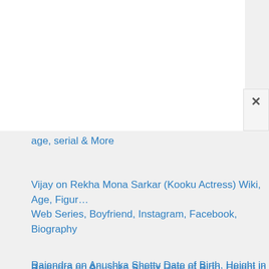age, serial & More
Vijay on Rekha Mona Sarkar (Kooku Actress) Wiki, Age, Figure, Web Series, Boyfriend, Instagram, Facebook, Biography
Rajendra on Anushka Shetty Date of Birth, Height in Feet, Figure Measurements, Age, Boyfriend, Family & More